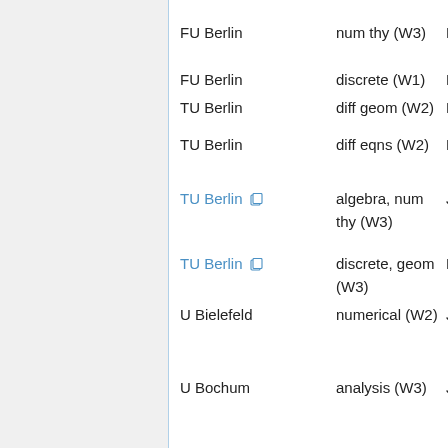| Institution | Subject | Date |
| --- | --- | --- |
| FU Berlin | num thy (W3) | Nov 3, 20… |
| FU Berlin | discrete (W1) | Nov 22, 2… |
| TU Berlin | diff geom (W2) | Dec 16, 2… |
| TU Berlin | diff eqns (W2) | Dec 16, 2… |
| TU Berlin [link] | algebra, num thy (W3) | Jan 27, 20… |
| TU Berlin [link] | discrete, geom (W3) | Mar 22, 20… |
| U Bielefeld | numerical (W2) | Jun 16, 20… |
| U Bochum | analysis (W3) | Jan 10, 20… |